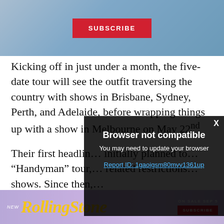[Figure (other): Blue gradient subscribe banner with red SUBSCRIBE button]
Kicking off in just under a month, the five-date tour will see the outfit traversing the country with shows in Brisbane, Sydney, Perth, and Adelaide, before wrapping things up with a show in Melbourne on May 22nd.
Their first headline... initially planned to... "Handyman" tour,... related restrictions... shows. Since then,...
[Figure (screenshot): Modal dialog: Browser not compatible. You may need to update your browser. Report ID: 1gaoigsm80mvv1361up. X close button.]
[Figure (other): Rolling Stone magazine advertisement. NEW Rolling Stone. ON SALE SEP 5. SUBSCRIBE button.]